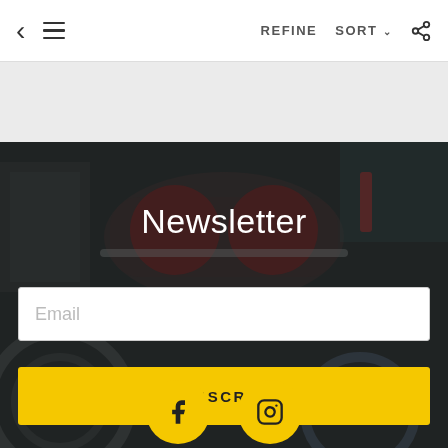< ≡ REFINE SORT ∨ share
[Figure (screenshot): Mobile app screenshot showing a newsletter signup page with a dark background featuring automotive/engine parts imagery, a white email input field with placeholder text 'Email', a yellow SUBSCRIBE button, and social media icons (Facebook, Instagram) in yellow circles at the bottom.]
Newsletter
Email
SUBSCRIBE